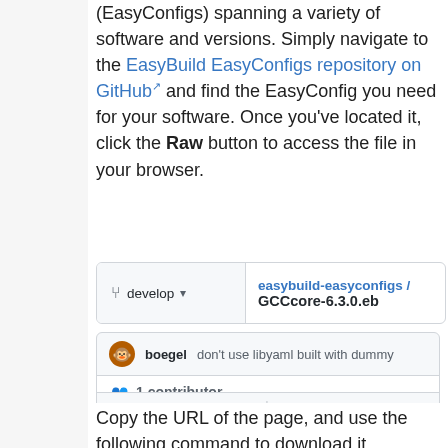(EasyConfigs) spanning a variety of software and versions. Simply navigate to the EasyBuild EasyConfigs repository on GitHub and find the EasyConfig you need for your software. Once you've located it, click the Raw button to access the file in your browser.
[Figure (screenshot): GitHub file browser showing branch 'develop' dropdown and file path 'easybuild-easyconfigs / GCCcore-6.3.0.eb']
[Figure (screenshot): GitHub commit bar showing user 'boegel' with commit message 'don't use libyaml built with dummy...' and '1 contributor' info]
[Figure (screenshot): GitHub file viewer showing '34 lines (25 sloc) | 843 Bytes' and code lines: 1: ##, 2: # This file is an EasyBuild reciPY a, 3: #, 4: # Copyright:: Copyright 2012,2014 Un]
Copy the URL of the page, and use the following command to download it.